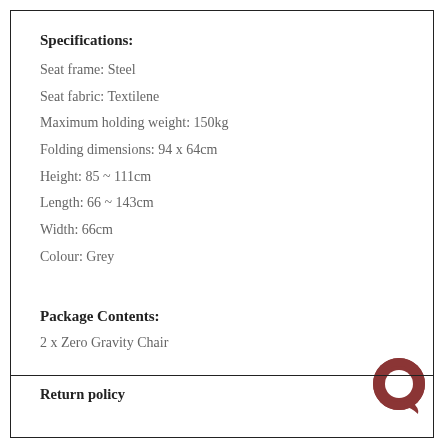Specifications:
Seat frame: Steel
Seat fabric: Textilene
Maximum holding weight: 150kg
Folding dimensions: 94 x 64cm
Height: 85 ~ 111cm
Length: 66 ~ 143cm
Width: 66cm
Colour: Grey
Package Contents:
2 x Zero Gravity Chair
Return policy